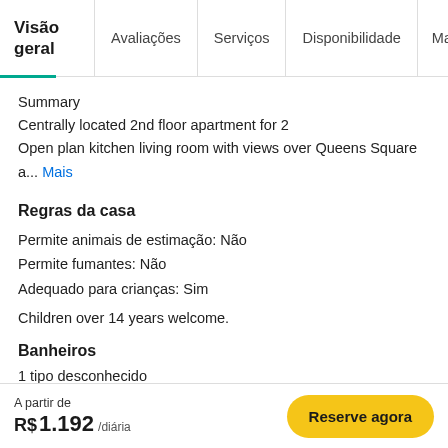Visão geral | Avaliações | Serviços | Disponibilidade | Mapa | Polit
Summary
Centrally located 2nd floor apartment for 2
Open plan kitchen living room with views over Queens Square a... Mais
Regras da casa
Permite animais de estimação: Não
Permite fumantes: Não
Adequado para crianças: Sim
Children over 14 years welcome.
Banheiros
1 tipo desconhecido
A partir de R$ 1.192 /diária   Reserve agora